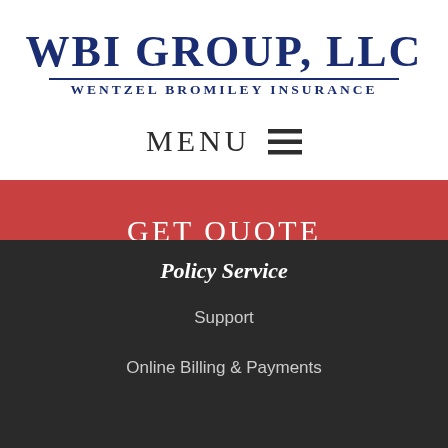WBI GROUP, LLC
WENTZEL BROMILEY INSURANCE
MENU ☰
GET QUOTE
Policy Service
Support
Online Billing & Payments